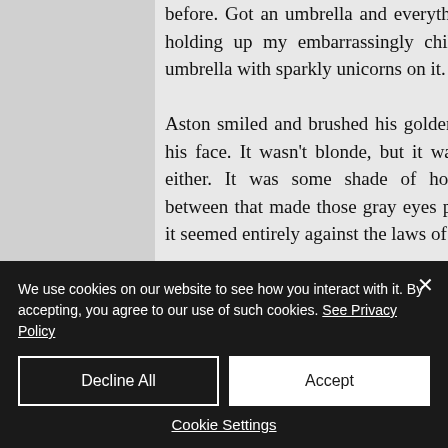before. Got an umbrella and everything, I said, holding up my embarrassingly childlike pink umbrella with sparkly unicorns on it.

Aston smiled and brushed his golden hair from his face. It wasn't blonde, but it wasn't brown either. It was some shade of holy cow in between that made those gray eyes pop, though it seemed entirely against the laws of genetics.

"Cute. I think my little sister has one just
We use cookies on our website to see how you interact with it. By accepting, you agree to our use of such cookies. See Privacy Policy
Decline All
Accept
Cookie Settings